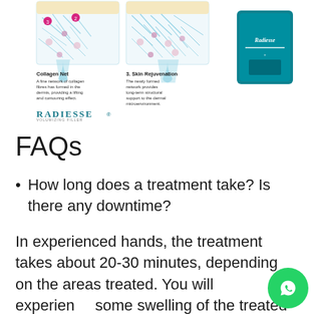[Figure (illustration): Radiesse collagen net and skin rejuvenation diagram showing cross-sections of skin with collagen fibers, dropper illustrations, and Radiesse product box. Labels include 'Collagen Net' and '3. Skin Rejuvenation' with descriptive text and the Radiesse logo.]
FAQs
How long does a treatment take? Is there any downtime?
In experienced hands, the treatment takes about 20-30 minutes, depending on the areas treated. You will experience some swelling of the treated areas for a